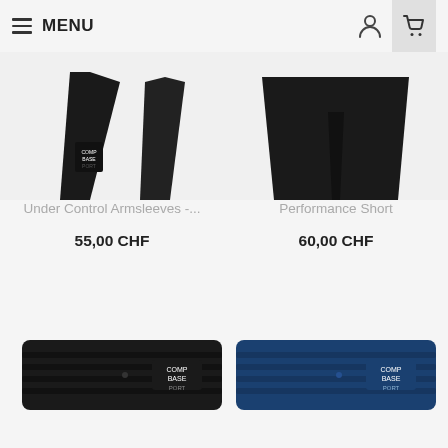MENU
[Figure (photo): Black arm sleeves product image, partially cropped at top]
Under Control Armsleeves -...
55,00 CHF
[Figure (photo): Black performance short product image, partially cropped at top]
Performance Short
60,00 CHF
[Figure (photo): Black compression band/headband product]
[Figure (photo): Navy blue compression band/headband product]